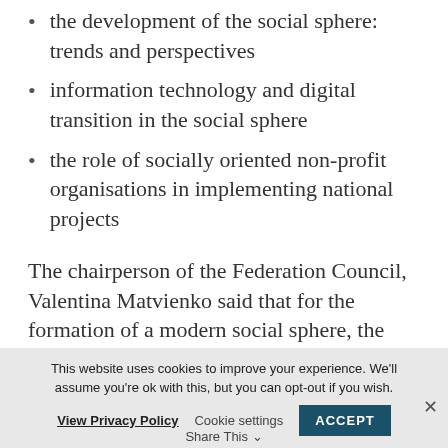the development of the social sphere: trends and perspectives
information technology and digital transition in the social sphere
the role of socially oriented non-profit organisations in implementing national projects
The chairperson of the Federation Council, Valentina Matvienko said that for the formation of a modern social sphere, the non-governmental sector of social services needs to be expanded. Moreover, she noted, in 2019 the forum should
This website uses cookies to improve your experience. We'll assume you're ok with this, but you can opt-out if you wish.
View Privacy Policy   Cookie settings   ACCEPT   Share This   ✕